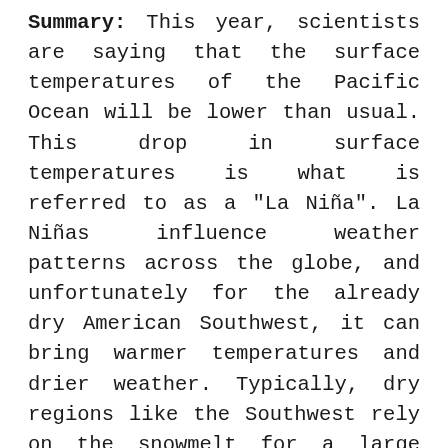Summary: This year, scientists are saying that the surface temperatures of the Pacific Ocean will be lower than usual. This drop in surface temperatures is what is referred to as a "La Niña". La Niñas influence weather patterns across the globe, and unfortunately for the already dry American Southwest, it can bring warmer temperatures and drier weather. Typically, dry regions like the Southwest rely on the snowmelt for a large amount of water that is used from spring, to summer, and into fall. Due to this year's forecasted La Niña, many areas will not get enough water to supply them trough the summer. Meaning that they will most likely remain in a state of drought until at least next winter, until scientists are able to determine whether it will be a La Niña (Low Pacific surface...